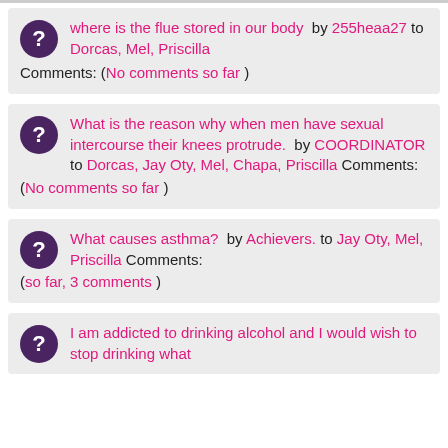where is the flue stored in our body by 255heaa27 to Dorcas, Mel, Priscilla Comments: (No comments so far )
What is the reason why when men have sexual intercourse their knees protrude. by COORDINATOR to Dorcas, Jay Oty, Mel, Chapa, Priscilla Comments: (No comments so far )
What causes asthma? by Achievers. to Jay Oty, Mel, Priscilla Comments: (so far, 3 comments )
I am addicted to drinking alcohol and I would wish to stop drinking what